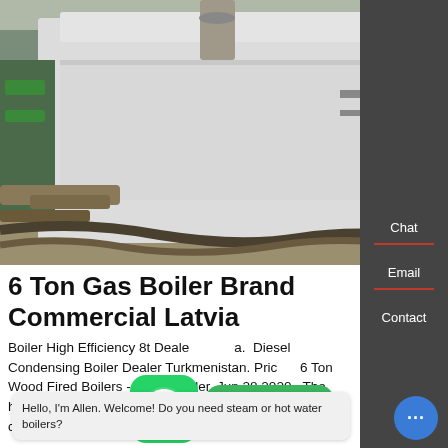[Figure (photo): Large industrial gas boiler (white and dark blue/navy casing) inside a factory/warehouse, with pipes, machinery, and industrial equipment visible in the background.]
6 Ton Gas Boiler Brand Commercial Latvia
Boiler High Efficiency 8t Dealer Latvia. Diesel Condensing Boiler Dealer Turkmenistan. Price 6 Ton Wood Fired Boilers - Diesel Boiler. Jun 28 2020 · The heat of a … h calorific value of the biomass fuel used is 4500 kcal th…